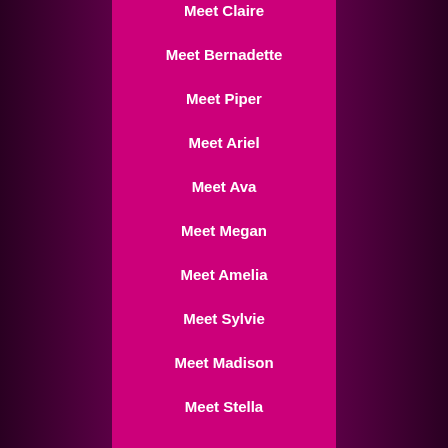Meet Claire
Meet Bernadette
Meet Piper
Meet Ariel
Meet Ava
Meet Megan
Meet Amelia
Meet Sylvie
Meet Madison
Meet Stella